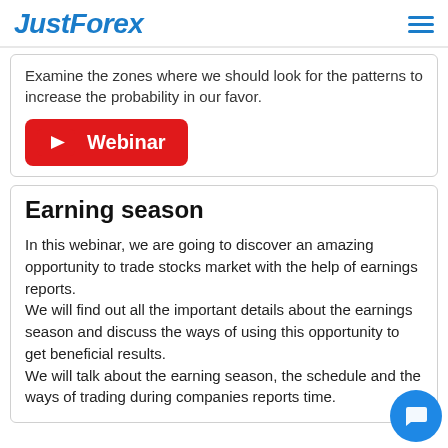JustForex
Examine the zones where we should look for the patterns to increase the probability in our favor.
[Figure (other): Red YouTube-style Webinar button with play icon and text 'Webinar']
Earning season
In this webinar, we are going to discover an amazing opportunity to trade stocks market with the help of earnings reports.
We will find out all the important details about the earnings season and discuss the ways of using this opportunity to get beneficial results.
We will talk about the earning season, the schedule and the ways of trading during companies reports time.